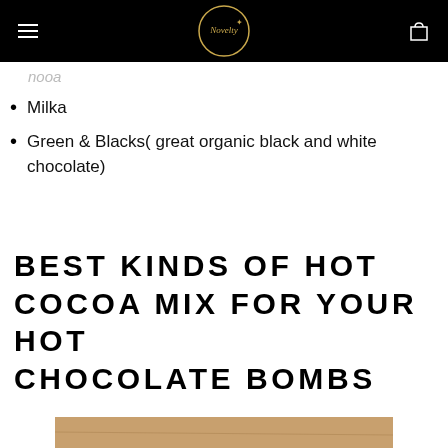Novelty [logo]
Milka
Green & Blacks( great organic black and white chocolate)
BEST KINDS OF HOT COCOA MIX FOR YOUR HOT CHOCOLATE BOMBS
[Figure (photo): Photo of dark chocolate mold or hot chocolate bomb on a wooden surface, showing scalloped edges of a circular chocolate mold, viewed from above.]